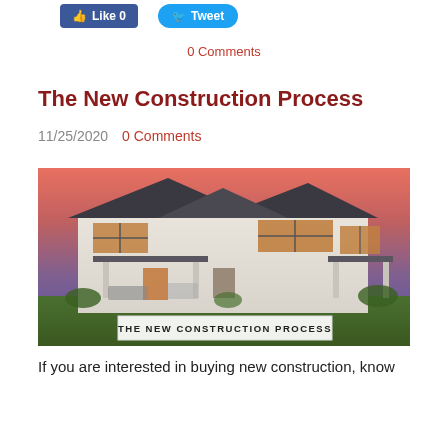[Figure (other): Facebook Like button (0) and Twitter Tweet button]
0 Comments
The New Construction Process
11/25/2020  0 Comments
[Figure (photo): Exterior photo of a large modern farmhouse at dusk with a covered porch, dark metal roof, and warm interior lighting. Text overlay reads: THE NEW CONSTRUCTION PROCESS]
If you are interested in buying new construction, know